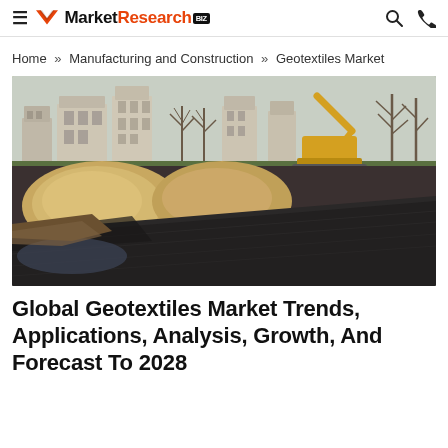≡  MarketResearch.BIZ  🔍  📞
Home » Manufacturing and Construction » Geotextiles Market
[Figure (photo): Construction site showing dark geotextile fabric laid on ground with piles of sand/gravel and buildings and excavator in background]
Global Geotextiles Market Trends, Applications, Analysis, Growth, And Forecast To 2028